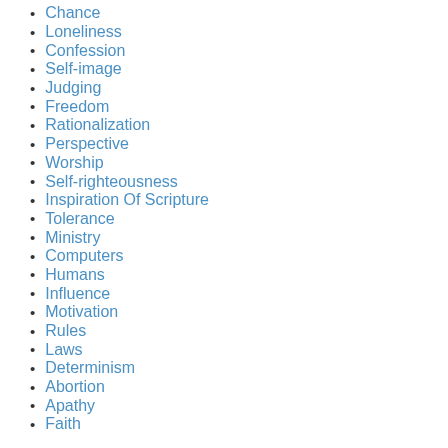Chance
Loneliness
Confession
Self-image
Judging
Freedom
Rationalization
Perspective
Worship
Self-righteousness
Inspiration Of Scripture
Tolerance
Ministry
Computers
Humans
Influence
Motivation
Rules
Laws
Determinism
Abortion
Apathy
Faith